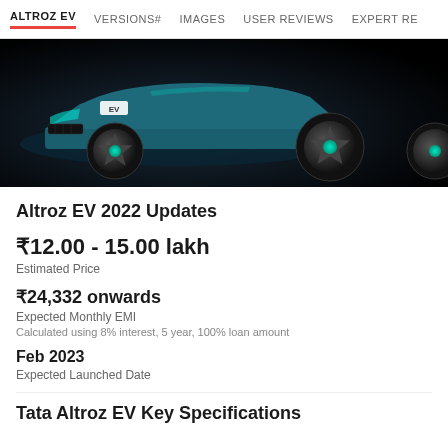ALTROZ EV  VERSIONS#  IMAGES  USER REVIEWS  EXPERT RE
[Figure (photo): Tata Altroz EV car front and wheel view against a dark background, with EV badge visible]
Altroz EV 2022 Updates
₹12.00 - 15.00 lakh
Estimated Price
₹24,332 onwards
Expected Monthly EMI
Calculated using 8% interest, 5 year, 100% loan amount
Feb 2023
Expected Launched Date
Tata Altroz EV Key Specifications